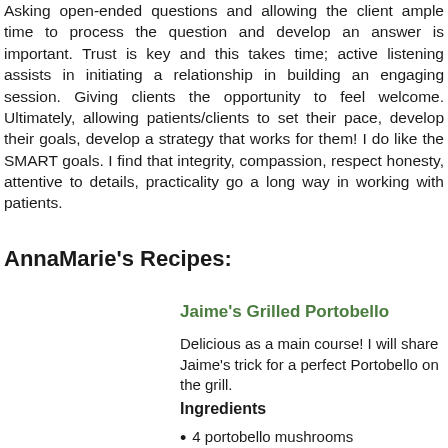Asking open-ended questions and allowing the client ample time to process the question and develop an answer is important. Trust is key and this takes time; active listening assists in initiating a relationship in building an engaging session. Giving clients the opportunity to feel welcome. Ultimately, allowing patients/clients to set their pace, develop their goals, develop a strategy that works for them! I do like the SMART goals. I find that integrity, compassion, respect honesty, attentive to details, practicality go a long way in working with patients.
AnnaMarie's Recipes:
Jaime's Grilled Portobello
Delicious as a main course! I will share Jaime's trick for a perfect Portobello on the grill.
Ingredients
4 portobello mushrooms